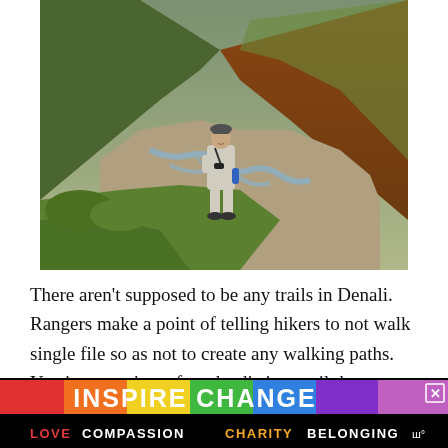[Figure (photo): Person standing on a grassy hillside in Denali with binoculars around their neck and a water bottle in hand, with a braided river valley and green hills in the background under overcast skies.]
There aren’t supposed to be any trails in Denali. Rangers make a point of telling hikers to not walk single file so as not to create any walking paths. Yet, in our unit we found a distinct trail that we were able to follow for a few miles as we na...
[Figure (infographic): Advertisement banner: INSPIRE CHANGE with rainbow background, LOVE COMPASSION CHARITY BELONGING tagline in colored text on black background, with a close/X button and weather icon.]